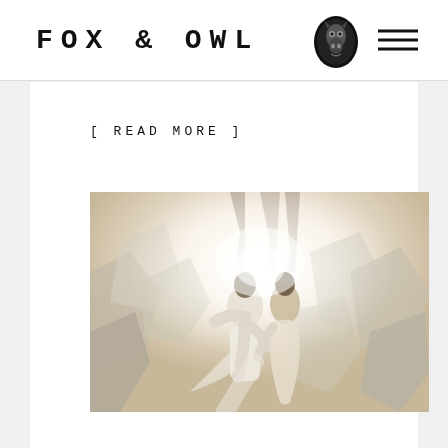FOX & OWL
[ READ MORE ]
[Figure (photo): A couple standing among large crystal rocks or quartz formations in a dreamy, overexposed outdoor setting. The woman wears a light flowing dress and the man is in white. Soft, hazy warm light surrounds them.]